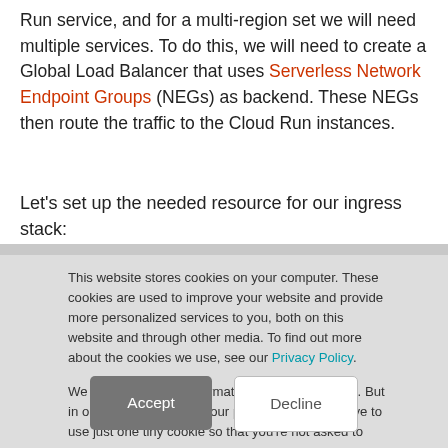Run service, and for a multi-region set we will need multiple services. To do this, we will need to create a Global Load Balancer that uses Serverless Network Endpoint Groups (NEGs) as backend. These NEGs then route the traffic to the Cloud Run instances.
Let's set up the needed resource for our ingress stack:
This website stores cookies on your computer. These cookies are used to improve your website and provide more personalized services to you, both on this website and through other media. To find out more about the cookies we use, see our Privacy Policy.

We won't track your information when you decline. But in order to comply with your preferences, we'll have to use just one tiny cookie so that you're not asked to make this choice again.